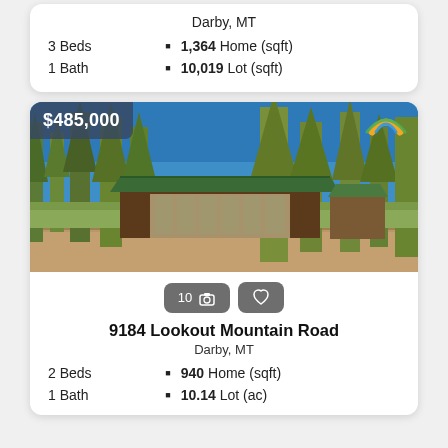Darby, MT
3 Beds
1,364 Home (sqft)
1 Bath
10,019 Lot (sqft)
[Figure (photo): Exterior photo of a cabin property with green metal roof, surrounded by tall pine trees and dry grass landscape, blue sky visible. Price badge shows $485,000.]
10 camera icon, heart icon
9184 Lookout Mountain Road
Darby, MT
2 Beds
940 Home (sqft)
1 Bath
10.14 Lot (ac)